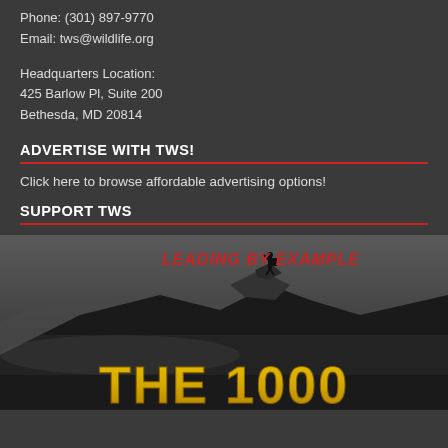Phone: (301) 897-9770
Email: tws@wildlife.org
Headquarters Location:
425 Barlow Pl, Suite 200
Bethesda, MD 20814
ADVERTISE WITH TWS!
Click here to browse affordable advertising options!
SUPPORT TWS
[Figure (illustration): Dark moody mountainscape with a silhouette of a person standing on a rocky peak, with text 'LEADING BY EXAMPLE' in red italic and 'THE 1000' in large gold letters at the bottom.]